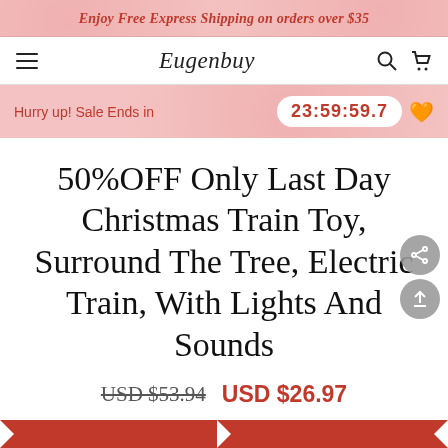Enjoy Free Express Shipping on orders over $35
[Figure (screenshot): Eugenbuy e-commerce navigation bar with hamburger menu, logo, search and cart icons]
Hurry up! Sale Ends in   23:59:59.7
50%OFF Only Last Day Christmas Train Toy, Surround The Tree, Electric Train, With Lights And Sounds
USD $53.94  USD $26.97